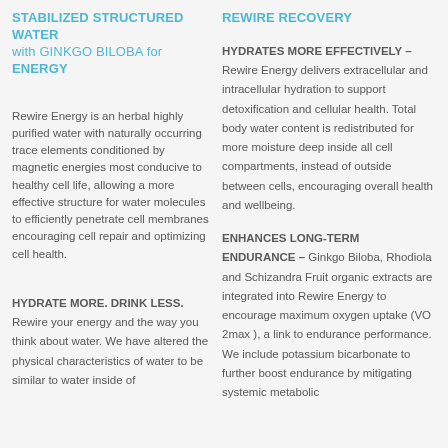STABILIZED STRUCTURED WATER with GINKGO BILOBA for ENERGY
REWIRE RECOVERY
Rewire Energy is an herbal highly purified water with naturally occurring trace elements conditioned by magnetic energies most conducive to healthy cell life, allowing a more effective structure for water molecules to efficiently penetrate cell membranes encouraging cell repair and optimizing cell health.
HYDRATES MORE EFFECTIVELY – Rewire Energy delivers extracellular and intracellular hydration to support detoxification and cellular health. Total body water content is redistributed for more moisture deep inside all cell compartments, instead of outside between cells, encouraging overall health and wellbeing.
HYDRATE MORE. DRINK LESS. Rewire your energy and the way you think about water. We have altered the physical characteristics of water to be similar to water inside of
ENHANCES LONG-TERM ENDURANCE – Ginkgo Biloba, Rhodiola and Schizandra Fruit organic extracts are integrated into Rewire Energy to encourage maximum oxygen uptake (VO 2max ), a link to endurance performance. We include potassium bicarbonate to further boost endurance by mitigating systemic metabolic